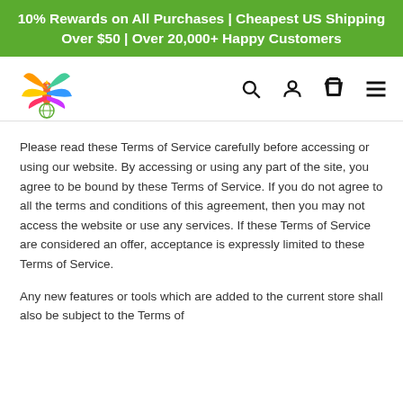10% Rewards on All Purchases | Cheapest US Shipping Over $50 | Over 20,000+ Happy Customers
[Figure (logo): Colorful bird/butterfly logo of the store]
Please read these Terms of Service carefully before accessing or using our website. By accessing or using any part of the site, you agree to be bound by these Terms of Service. If you do not agree to all the terms and conditions of this agreement, then you may not access the website or use any services. If these Terms of Service are considered an offer, acceptance is expressly limited to these Terms of Service.
Any new features or tools which are added to the current store shall also be subject to the Terms of